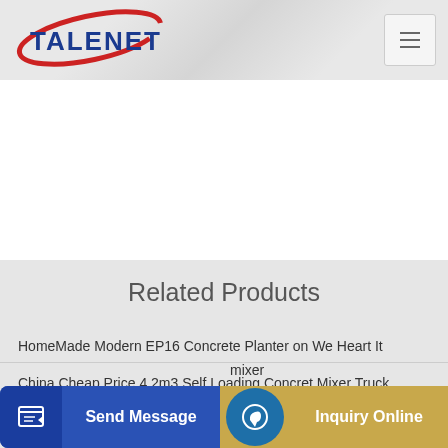[Figure (logo): TALENET logo with red swoosh arc and dark blue bold text]
[Figure (other): Hamburger menu icon with three horizontal lines]
Related Products
HomeMade Modern EP16 Concrete Planter on We Heart It
China Cheap Price 4 2m3 Self Loading Concret Mixer Truck
mixer
[Figure (other): Send Message button with blue background and document icon]
[Figure (other): Inquiry Online button with gold background and headset icon]